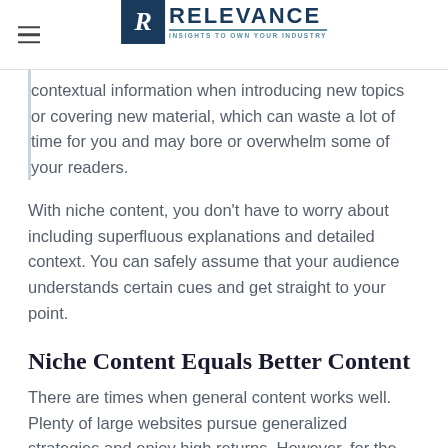RELEVANCE — INSIGHTS TO OWN YOUR INDUSTRY
contextual information when introducing new topics or covering new material, which can waste a lot of time for you and may bore or overwhelm some of your readers.
With niche content, you don't have to worry about including superfluous explanations and detailed context. You can safely assume that your audience understands certain cues and get straight to your point.
Niche Content Equals Better Content
There are times when general content works well. Plenty of large websites pursue generalized strategies and enjoy high returns. However, for the large majority of brands and websites, niche content is the only way to stand out in a saturated marketplace that prioritizes personalization.